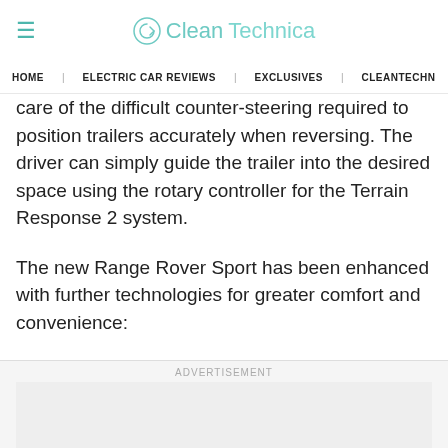CleanTechnica
HOME | ELECTRIC CAR REVIEWS | EXCLUSIVES | CLEANTECHN
care of the difficult counter-steering required to position trailers accurately when reversing. The driver can simply guide the trailer into the desired space using the rotary controller for the Terrain Response 2 system.
The new Range Rover Sport has been enhanced with further technologies for greater comfort and convenience:
[Figure (other): Advertisement placeholder box]